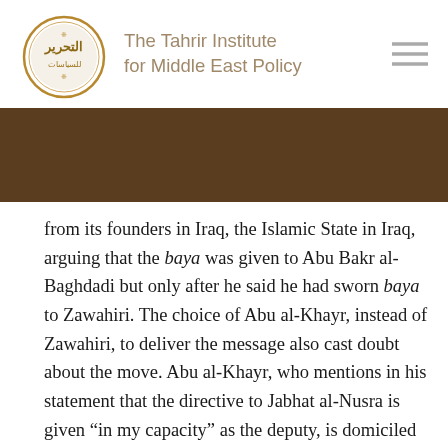[Figure (logo): The Tahrir Institute for Middle East Policy logo: circular golden Arabic calligraphy seal with the text 'The Tahrir Institute for Middle East Policy' in gold/tan to the right, and a hamburger menu icon on the far right.]
from its founders in Iraq, the Islamic State in Iraq, arguing that the baya was given to Abu Bakr al-Baghdadi but only after he said he had sworn baya to Zawahiri. The choice of Abu al-Khayr, instead of Zawahiri, to deliver the message also cast doubt about the move. Abu al-Khayr, who mentions in his statement that the directive to Jabhat al-Nusra is given “in my capacity” as the deputy, is domiciled in Syria. His presence in Syria renders Jolani’s